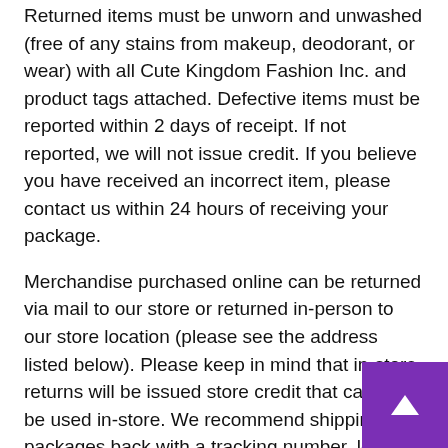Returned items must be unworn and unwashed (free of any stains from makeup, deodorant, or wear) with all Cute Kingdom Fashion Inc. and product tags attached. Defective items must be reported within 2 days of receipt. If not reported, we will not issue credit. If you believe you have received an incorrect item, please contact us within 24 hours of receiving your package.
Merchandise purchased online can be returned via mail to our store or returned in-person to our store location (please see the address listed below). Please keep in mind that in-store returns will be issued store credit that can only be used in-store. We recommend shipping packages back with a tracking number, lost packages without proof of receipt will not be given return credit.
Exchanges
Exchanges are not guaranteed. Our reasoning is simple. Our products are in high demand and if yo send back the item you want to exchange, there is no guarantee we will have what you want at that time.